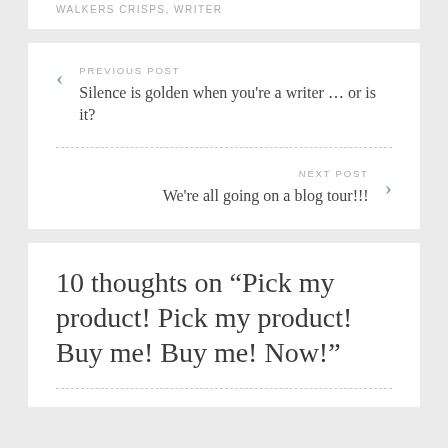WALKERS CRISPS, WRITER
PREVIOUS POST
Silence is golden when you’re a writer … or is it?
NEXT POST
We’re all going on a blog tour!!!
10 thoughts on “Pick my product! Pick my product! Buy me! Buy me! Now!”